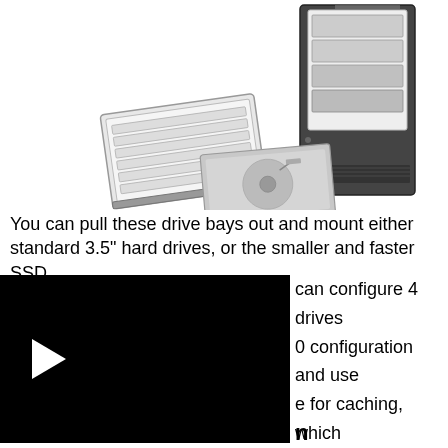[Figure (photo): A storage device enclosure (NAS/RAID box) with open drive bays showing internal hard drive sleds, and two drive trays shown separately in front — one white tray with cartridges and one silver hard drive tray.]
You can pull these drive bays out and mount either standard 3.5" hard drives, or the smaller and faster SSD can configure 4 drives 0 configuration and use e for caching, which benefits.
[Figure (screenshot): Black video player overlay with a white play button triangle on the left side.]
n